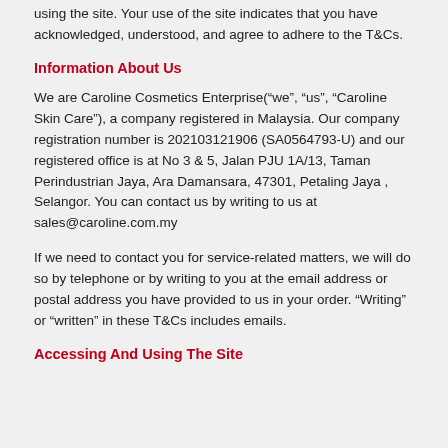using the site. Your use of the site indicates that you have acknowledged, understood, and agree to adhere to the T&Cs.
Information About Us
We are Caroline Cosmetics Enterprise(“we”, “us”, “Caroline Skin Care”), a company registered in Malaysia. Our company registration number is 202103121906 (SA0564793-U) and our registered office is at No 3 & 5, Jalan PJU 1A/13, Taman Perindustrian Jaya, Ara Damansara, 47301, Petaling Jaya , Selangor. You can contact us by writing to us at sales@caroline.com.my
If we need to contact you for service-related matters, we will do so by telephone or by writing to you at the email address or postal address you have provided to us in your order. “Writing” or “written” in these T&Cs includes emails.
Accessing And Using The Site